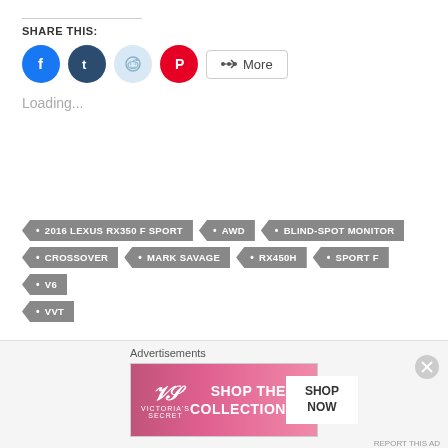SHARE THIS:
[Figure (other): Social share buttons: Facebook (blue circle), Tumblr (dark blue circle), Reddit (light blue circle), Pinterest (red circle), and a 'More' button with share icon]
Loading...
2016 LEXUS RX350 F SPORT
AWD
BLIND-SPOT MONITOR
CROSSOVER
MARK SAVAGE
RX450H
SPORT F
V6
VVT
Advertisements
[Figure (photo): Victoria's Secret advertisement banner with model, VS logo, 'SHOP THE COLLECTION' text, and 'SHOP NOW' button]